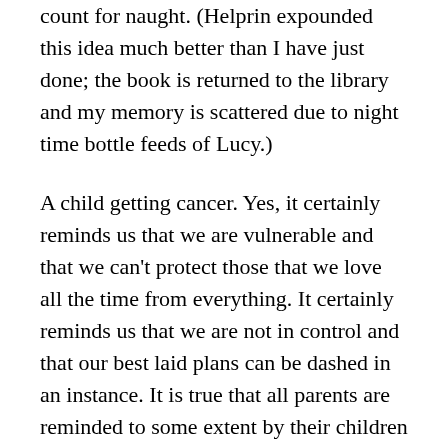count for naught. (Helprin expounded this idea much better than I have just done; the book is returned to the library and my memory is scattered due to night time bottle feeds of Lucy.)
A child getting cancer. Yes, it certainly reminds us that we are vulnerable and that we can't protect those that we love all the time from everything. It certainly reminds us that we are not in control and that our best laid plans can be dashed in an instance. It is true that all parents are reminded to some extent by their children of these truths. We want nothing to hurt them but they will inevitably be bullied, hurt, heartbroken, fired. We want to control and plan our lives, our work, our leisure and our families, but then they spill something, have a